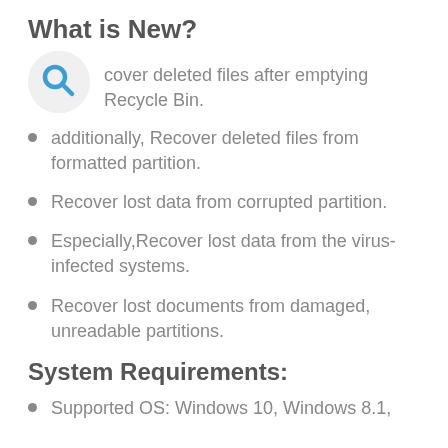What is New?
Recover deleted files after emptying Recycle Bin.
additionally, Recover deleted files from formatted partition.
Recover lost data from corrupted partition.
Especially,Recover lost data from the virus-infected systems.
Recover lost documents from damaged, unreadable partitions.
System Requirements:
Supported OS: Windows 10, Windows 8.1,